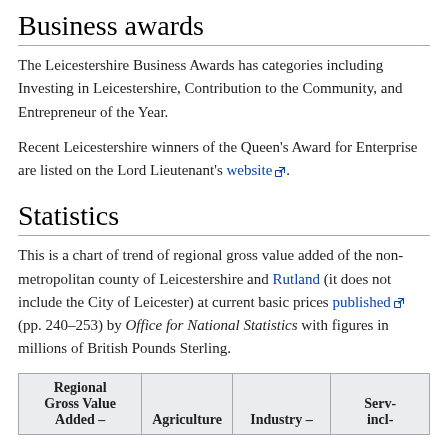Business awards
The Leicestershire Business Awards has categories including Investing in Leicestershire, Contribution to the Community, and Entrepreneur of the Year.
Recent Leicestershire winners of the Queen's Award for Enterprise are listed on the Lord Lieutenant's website [external link].
Statistics
This is a chart of trend of regional gross value added of the non-metropolitan county of Leicestershire and Rutland (it does not include the City of Leicester) at current basic prices published [external link] (pp. 240–253) by Office for National Statistics with figures in millions of British Pounds Sterling.
| Regional Gross Value Added – | Agriculture | Industry – | Serv- incl- |
| --- | --- | --- | --- |